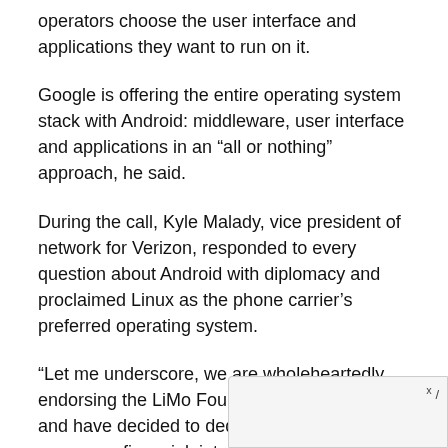operators choose the user interface and applications they want to run on it.
Google is offering the entire operating system stack with Android: middleware, user interface and applications in an “all or nothing” approach, he said.
During the call, Kyle Malady, vice president of network for Verizon, responded to every question about Android with diplomacy and proclaimed Linux as the phone carrier’s preferred operating system.
“Let me underscore, we are wholeheartedly endorsing the LiMo Foundation’s approach and have decided to dedicate company resources-financial, intellectual and personnel-to fulfill the [text continues] opening